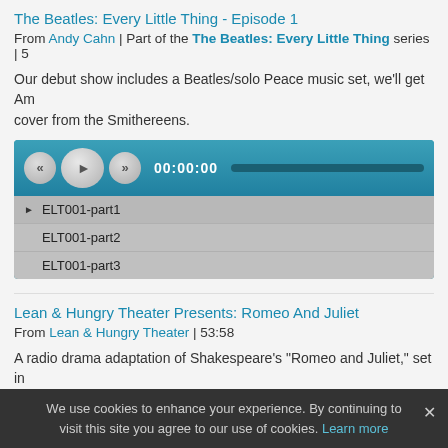The Beatles: Every Little Thing - Episode 1
From Andy Cahn | Part of the The Beatles: Every Little Thing series | 5
Our debut show includes a Beatles/solo Peace music set, we'll get Am... cover from the Smithereens.
[Figure (screenshot): Audio player with rewind, play, fast-forward controls showing 00:00:00, and a playlist with ELT001-part1 (active), ELT001-part2, ELT001-part3]
Lean & Hungry Theater Presents: Romeo And Juliet
From Lean & Hungry Theater | 53:58
A radio drama adaptation of Shakespeare's "Romeo and Juliet," set in... with live sound effects and some of the finest Shakespearean actors i... language narration provides an ongoing recap of the original text thr... "Romeo and Juliet" was aired originally by Washington, DC's WAMU o... Valentine's Day treat for its listeners.
We use cookies to enhance your experience. By continuing to visit this site you agree to our use of cookies. Learn more